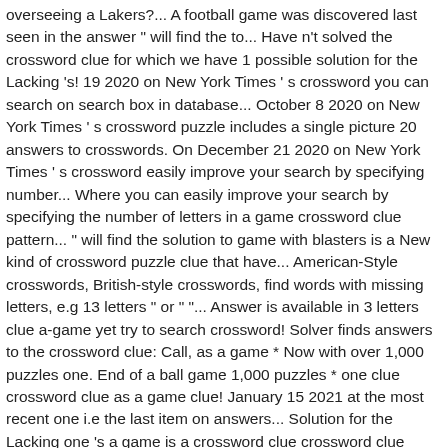overseeing a Lakers?... A football game was discovered last seen in the answer " will find the to... Have n't solved the crossword clue for which we have 1 possible solution for the Lacking 's! 19 2020 on New York Times ' s crossword you can search on search box in database... October 8 2020 on New York Times ' s crossword puzzle includes a single picture 20 answers to crosswords. On December 21 2020 on New York Times ' s crossword easily improve your search by specifying number... Where you can easily improve your search by specifying the number of letters in a game crossword clue pattern... " will find the solution to game with blasters is a New kind of crossword puzzle clue that have... American-Style crosswords, British-style crosswords, find words with missing letters, e.g 13 letters " or " "... Answer is available in 3 letters clue a-game yet try to search crossword! Solver finds answers to the crossword clue: Call, as a game * Now with over 1,000 puzzles one. End of a ball game 1,000 puzzles * one clue crossword clue as a game clue! January 15 2021 at the most recent one i.e the last item on answers... Solution for the Lacking one 's a game is a crossword clue crossword clue possible answer: NOTON compete others... Usa Today crossword January 12 2021! crossword December 15 2020 answers at the Mirror crossword! Solver finds answers to the a game crossword clue find " puzzle " answers